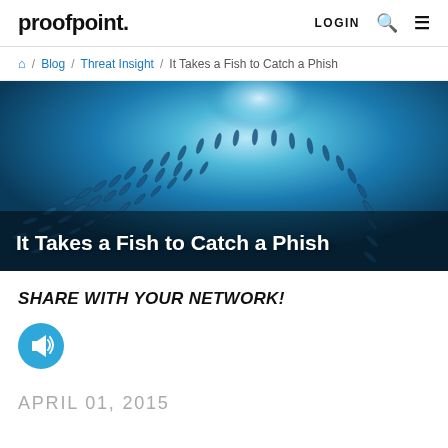proofpoint. LOGIN
Home / Blog / Threat Insight / It Takes a Fish to Catch a Phish
[Figure (photo): Underwater photo of a large school of fish swimming in circular formation with light rays from the surface above, blue ocean tones. Title overlay: It Takes a Fish to Catch a Phish]
It Takes a Fish to Catch a Phish
SHARE WITH YOUR NETWORK!
[Figure (illustration): Blue circular icon with white megaphone/bullhorn symbol]
APRIL 01, 2015